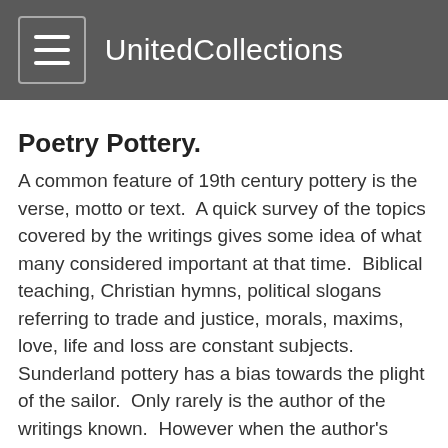UnitedCollections
Poetry Pottery.
A common feature of 19th century pottery is the verse, motto or text.  A quick survey of the topics covered by the writings gives some idea of what many considered important at that time.  Biblical teaching, Christian hymns, political slogans referring to trade and justice, morals, maxims, love, life and loss are constant subjects.  Sunderland pottery has a bias towards the plight of the sailor.  Only rarely is the author of the writings known.  However when the author's name is included, or the writing can be traced, studying the biography can give deeper understanding.
You are most likely to be reading this page from having an interest in pottery and collecting.  If your interest is purely the poetry, then your interest in the background